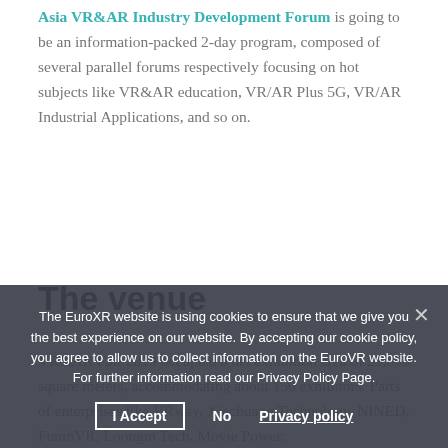Asia VR&AR Industry Development Forum is going to be an information-packed 2-day program, composed of several parallel forums respectively focusing on hot subjects like VR&AR education, VR/AR Plus 5G, VR/AR Industrial Applications, and so on.
The venue
VR&AR Fair 2019 occupied a net exhibition area of 25,000 square meters, accommodating about 150 exhibitors. Parts of enterprises like VRway, Xiechuang Technology, NINED, FuninVR, Loongin Tech, Movie Power, taussim, VR the Guide, Taiwan, China), NEMO, Ten Ho VK Classroom and etc. Besides, the event received more than 25,000 people time visitors, of which were overseas from the USA, UK, Germany, Italy, Japan, Korea
The EuroXR website is using cookies to ensure that we give you the best experience on our website. By accepting our cookie policy, you agree to allow us to collect information on the EuroVR website. For further information read our Privacy Policy Page.